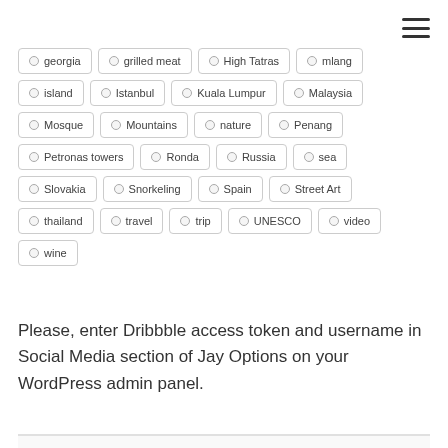georgia
grilled meat
High Tatras
mlang
island
Istanbul
Kuala Lumpur
Malaysia
Mosque
Mountains
nature
Penang
Petronas towers
Ronda
Russia
sea
Slovakia
Snorkeling
Spain
Street Art
thailand
travel
trip
UNESCO
video
wine
Please, enter Dribbble access token and username in Social Media section of Jay Options on your WordPress admin panel.